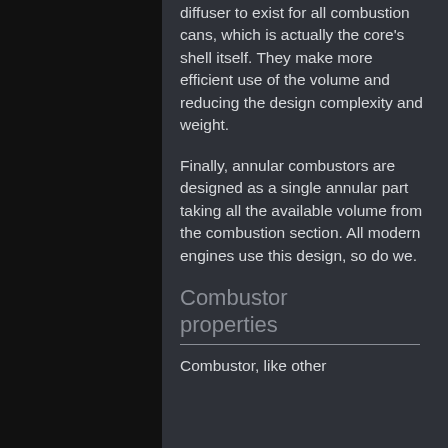diffuser to exist for all combustion cans, which is actually the core's shell itself. They make more efficient use of the volume and reducing the design complexity and weight.
Finally, annular combustors are designed as a single annular part taking all the available volume from the combustion section. All modern engines use this design, so do we.
Combustor properties
Combustor, like other